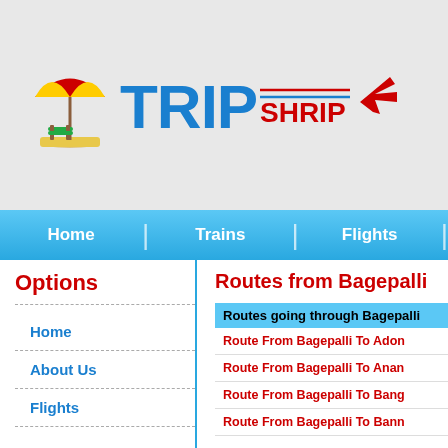[Figure (logo): TripShrip logo with beach umbrella icon, bold blue TRIP text, red SHRIP text, horizontal lines and red airplane icon]
Home | Trains | Flights |
Options
Home
About Us
Flights
Routes from Bagepalli
| Routes going through Bagepalli |
| --- |
| Route From Bagepalli To Adon... |
| Route From Bagepalli To Anan... |
| Route From Bagepalli To Bang... |
| Route From Bagepalli To Bann... |